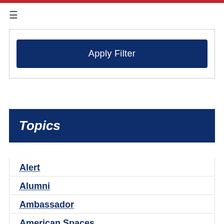[Figure (other): Red horizontal bar at top of page]
≡
Apply Filter
Topics
Alert
Alumni
Ambassador
American Spaces
Art & Culture
Consular Affairs
Culture
embassy